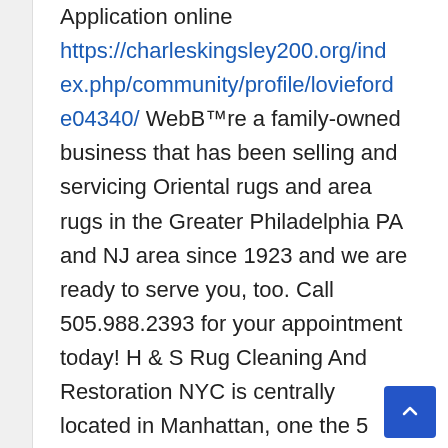Application online https://charleskingsley200.org/index.php/community/profile/lovieford e04340/ WebВ™re a family-owned business that has been selling and servicing Oriental rugs and area rugs in the Greater Philadelphia PA and NJ area since 1923 and we are ready to serve you, too. Call 505.988.2393 for your appointment today! H & S Rug Cleaning And Restoration NYC is centrally located in Manhattan, one the 5 main boroughs. Manhattan borders